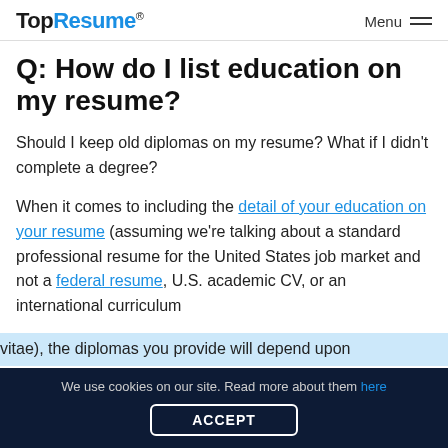TopResume® Menu
Q: How do I list education on my resume?
Should I keep old diplomas on my resume? What if I didn't complete a degree?
When it comes to including the detail of your education on your resume (assuming we're talking about a standard professional resume for the United States job market and not a federal resume, U.S. academic CV, or an international curriculum vitae), the diplomas you provide will depend upon
We use cookies on our site. Read more about them here ACCEPT